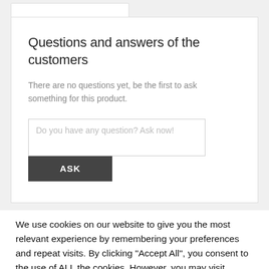Questions and answers of the customers
There are no questions yet, be the first to ask something for this product.
Do you have any question? Ask now!
ASK
We use cookies on our website to give you the most relevant experience by remembering your preferences and repeat visits. By clicking "Accept All", you consent to the use of ALL the cookies. However, you may visit "Cookie Settings" to provide a controlled consent.